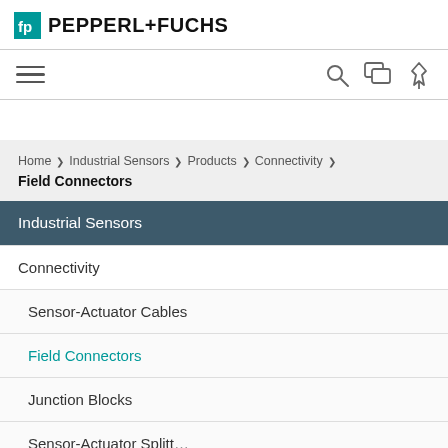PEPPERL+FUCHS
[Figure (screenshot): Navigation bar with hamburger menu icon on the left and search, chat, and pin icons on the right]
Home > Industrial Sensors > Products > Connectivity > Field Connectors
Industrial Sensors
Connectivity
Sensor-Actuator Cables
Field Connectors
Junction Blocks